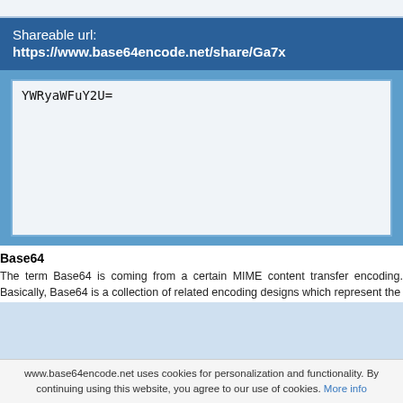Shareable url:
https://www.base64encode.net/share/Ga7x
YWRyaWFuY2U=
Base64
The term Base64 is coming from a certain MIME content transfer encoding. Basically, Base64 is a collection of related encoding designs which represent the
www.base64encode.net uses cookies for personalization and functionality. By continuing using this website, you agree to our use of cookies. More info